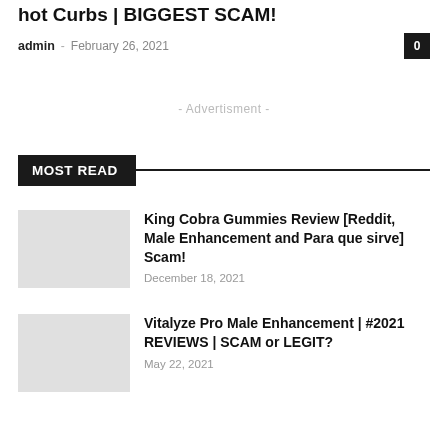hot Curbs | BIGGEST SCAM!
admin – February 26, 2021
- Advertisment -
MOST READ
King Cobra Gummies Review [Reddit, Male Enhancement and Para que sirve] Scam!
December 18, 2021
Vitalyze Pro Male Enhancement | #2021 REVIEWS | SCAM or LEGIT?
May 22, 2021